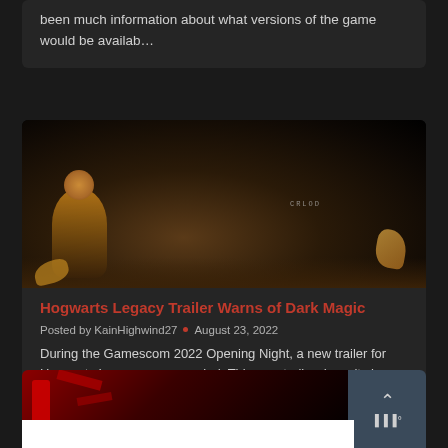been much information about what versions of the game would be availab…
[Figure (photo): Dark, atmospheric scene with a cloaked figure standing in a dimly lit environment, possibly a tunnel or cave. Small creature or bird visible on bottom right. Text 'CRLOD' visible in upper area.]
Hogwarts Legacy Trailer Warns of Dark Magic
Posted by KainHighwind27 • August 23, 2022
During the Gamescom 2022 Opening Night, a new trailer for Hogwarts Legacy was revealed. This new trailer doesn't show any new…
[Figure (photo): Partial view of another article card at the bottom showing red elements on dark background, with a grey button showing an up arrow and logo text.]